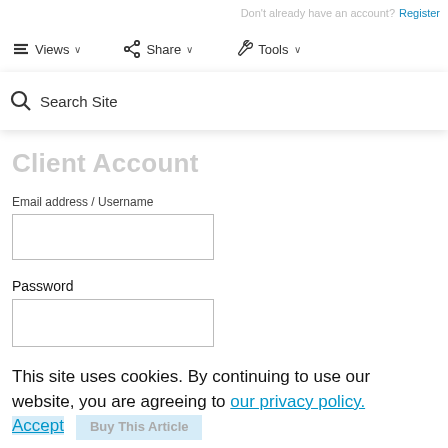Don't already have an account? Register
Views   Share   Tools
Client Account
Search Site
Email address / Username
Password
Sign In
Reset password
Register
This site uses cookies. By continuing to use our website, you are agreeing to our privacy policy. Accept   Buy This Article